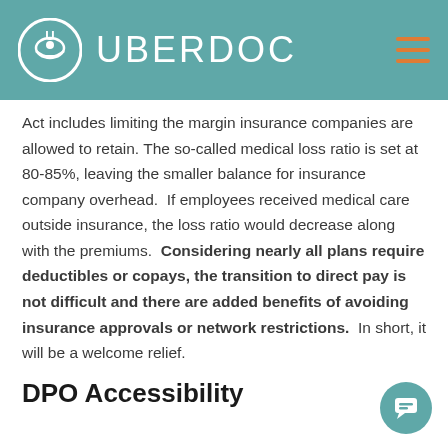UBERDOC
Act includes limiting the margin insurance companies are allowed to retain. The so-called medical loss ratio is set at 80-85%, leaving the smaller balance for insurance company overhead.  If employees received medical care outside insurance, the loss ratio would decrease along with the premiums.  Considering nearly all plans require deductibles or copays, the transition to direct pay is not difficult and there are added benefits of avoiding insurance approvals or network restrictions.  In short, it will be a welcome relief.
DPO Accessibility